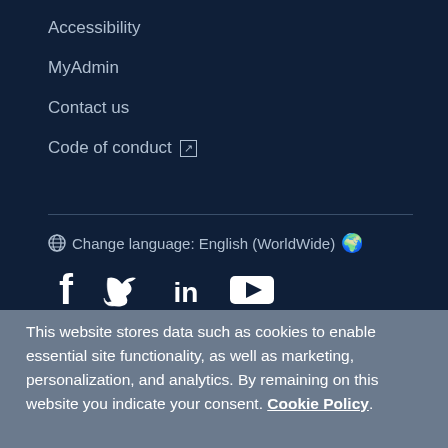Accessibility
MyAdmin
Contact us
Code of conduct ↗
Change language: English (WorldWide) 🌍
This website stores data such as cookies to enable essential site functionality, as well as marketing, personalization, and analytics. By remaining on this website you indicate your consent. Cookie Policy.